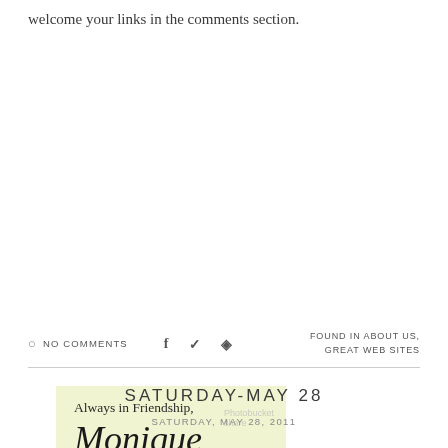welcome your links in the comments section.
[Figure (illustration): Signature block on light yellow-green background reading 'Always in Friendship, Monique' with a cursive signature and a photobucket watermark]
NO COMMENTS
FOUND IN ABOUT US, GREAT WEB SITES
SATURDAY-MAY 28
SATURDAY, MAY 28, 2011